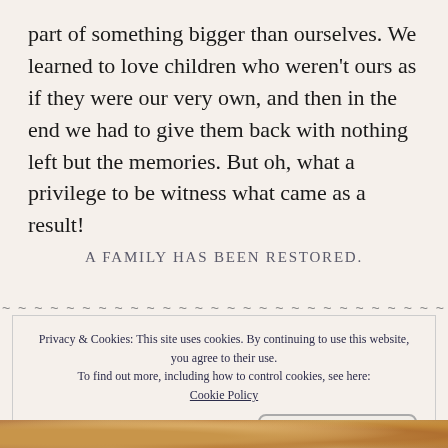part of something bigger than ourselves. We learned to love children who weren't ours as if they were our very own, and then in the end we had to give them back with nothing left but the memories. But oh, what a privilege to be witness what came as a result!
A FAMILY HAS BEEN RESTORED.
Privacy & Cookies: This site uses cookies. By continuing to use this website, you agree to their use. To find out more, including how to control cookies, see here: Cookie Policy
Close and accept
[Figure (photo): Partial view of a photo strip at the bottom of the page showing warm golden/amber tones]